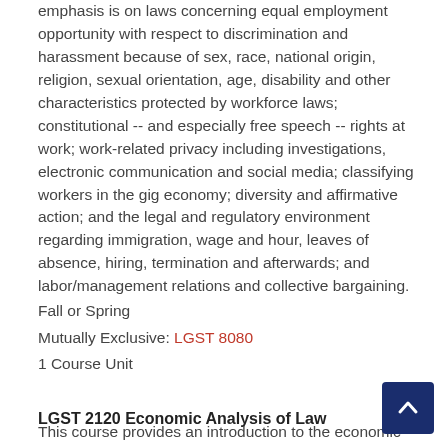emphasis is on laws concerning equal employment opportunity with respect to discrimination and harassment because of sex, race, national origin, religion, sexual orientation, age, disability and other characteristics protected by workforce laws; constitutional -- and especially free speech -- rights at work; work-related privacy including investigations, electronic communication and social media; classifying workers in the gig economy; diversity and affirmative action; and the legal and regulatory environment regarding immigration, wage and hour, leaves of absence, hiring, termination and afterwards; and labor/management relations and collective bargaining. Fall or Spring Mutually Exclusive: LGST 8080 1 Course Unit
LGST 2120 Economic Analysis of Law
This course provides an introduction to the economic